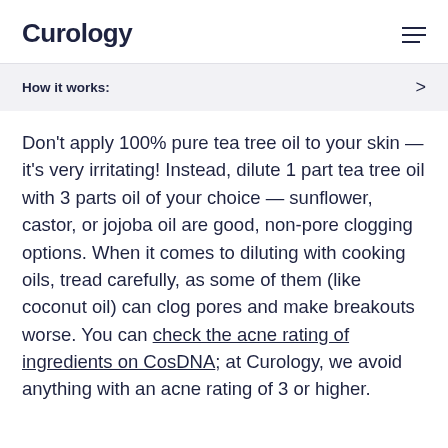Curology
How it works:
Don't apply 100% pure tea tree oil to your skin — it's very irritating! Instead, dilute 1 part tea tree oil with 3 parts oil of your choice — sunflower, castor, or jojoba oil are good, non-pore clogging options. When it comes to diluting with cooking oils, tread carefully, as some of them (like coconut oil) can clog pores and make breakouts worse. You can check the acne rating of ingredients on CosDNA; at Curology, we avoid anything with an acne rating of 3 or higher.